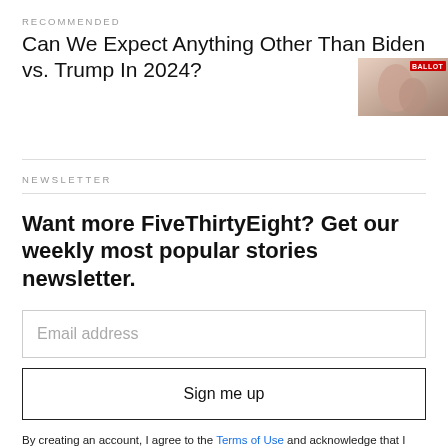RECOMMENDED
Can We Expect Anything Other Than Biden vs. Trump In 2024?
[Figure (photo): Partial image with BALLOT label in red, showing hands or person near a ballot]
NEWSLETTER
Want more FiveThirtyEight? Get our weekly most popular stories newsletter.
Email address
Sign me up
By creating an account, I agree to the Terms of Use and acknowledge that I have read the Privacy Policy and California Privacy Notice.